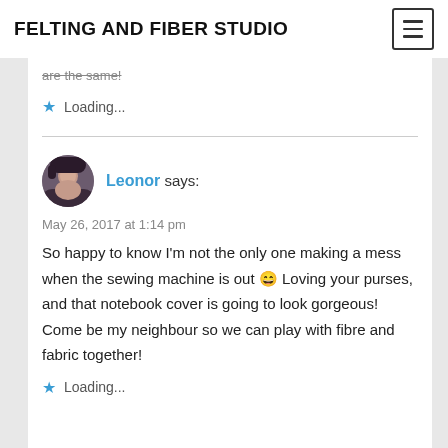FELTING AND FIBER STUDIO
are the same!
Loading...
Leonor says:
May 26, 2017 at 1:14 pm
So happy to know I'm not the only one making a mess when the sewing machine is out 😀 Loving your purses, and that notebook cover is going to look gorgeous! Come be my neighbour so we can play with fibre and fabric together!
Loading...